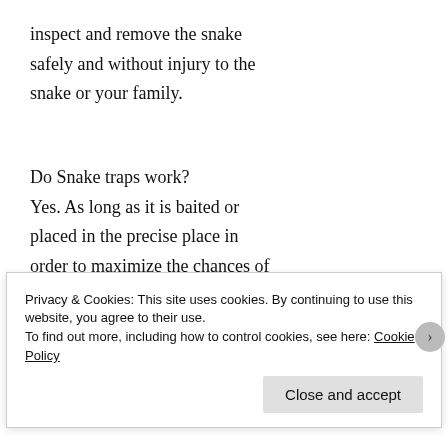inspect and remove the snake safely and without injury to the snake or your family.
Do Snake traps work?
Yes. As long as it is baited or placed in the precise place in order to maximize the chances of capture. Snake Exclusion is the best way to prevent future issues.
Privacy & Cookies: This site uses cookies. By continuing to use this website, you agree to their use.
To find out more, including how to control cookies, see here: Cookie Policy